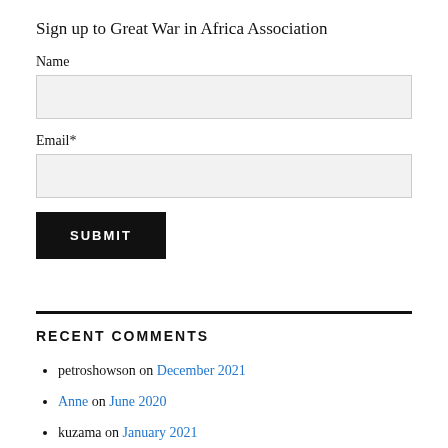Sign up to Great War in Africa Association
Name
Email*
SUBMIT
RECENT COMMENTS
petroshowson on December 2021
Anne on June 2020
kuzama on January 2021